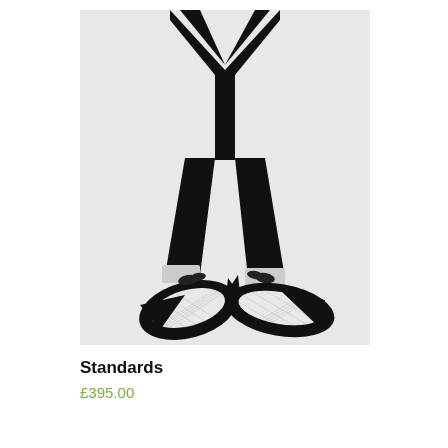[Figure (illustration): Black and white illustration of a figure in a black suit and two-tone winklepicker shoes, viewed from roughly waist-down, legs apart mid-stride. The shoes have a white textured panel and black pointed toe and heel. The jacket lapels are visible at the top.]
Standards
£395.00